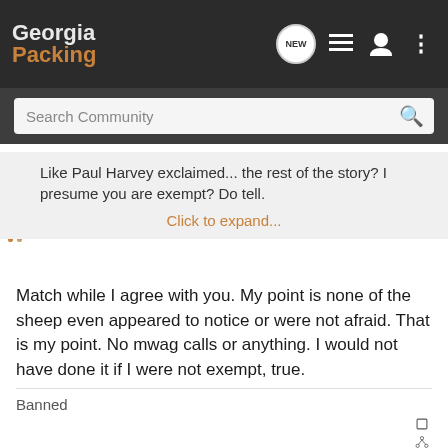Georgia Packing
Search Community
Like Paul Harvey exclaimed... the rest of the story? I presume you are exempt? Do tell.
Click to expand...
Match while I agree with you. My point is none of the sheep even appeared to notice or were not afraid. That is my point. No mwag calls or anything. I would not have done it if I were not exempt, true.
Banned
[Figure (screenshot): Advertisement banner with the word BETTER and an image of a handgun on a dark blue background]